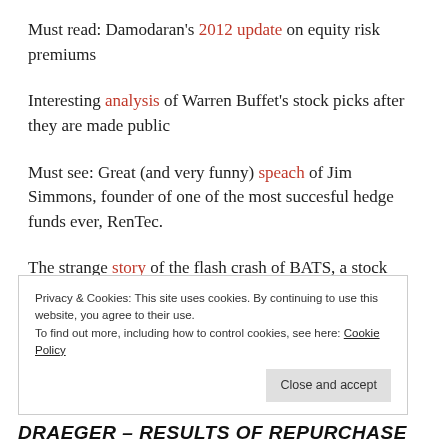Must read: Damodaran's 2012 update on equity risk premiums
Interesting analysis of Warren Buffet's stock picks after they are made public
Must see: Great (and very funny) speach of Jim Simmons, founder of one of the most succesful hedge funds ever, RenTec.
The strange story of the flash crash of BATS, a stock exchange operator, on its own stock exchange a few
Privacy & Cookies: This site uses cookies. By continuing to use this website, you agree to their use.
To find out more, including how to control cookies, see here: Cookie Policy
Close and accept
DRAEGER – RESULTS OF REPURCHASE